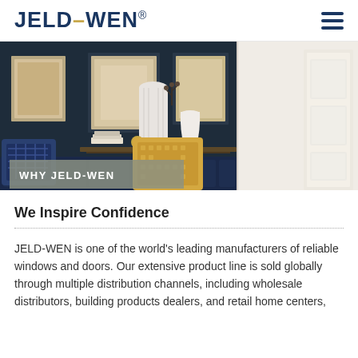[Figure (logo): JELD-WEN logo in dark navy blue]
[Figure (photo): Interior living room scene with navy walls, framed artwork, white ceramic vases, navy cushions, and a gold patterned pillow. Partially visible white paneled door on the right side.]
We Inspire Confidence
JELD-WEN is one of the world's leading manufacturers of reliable windows and doors. Our extensive product line is sold globally through multiple distribution channels, including wholesale distributors, building products dealers, and retail home centers,